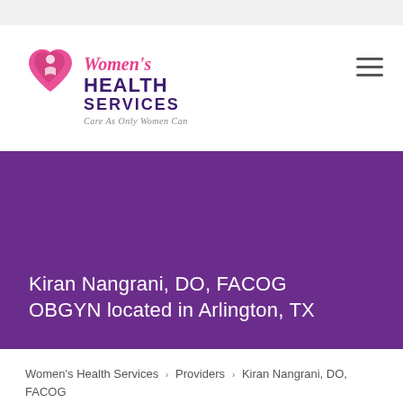[Figure (logo): Women's Health Services logo with pink heart and script text, tagline 'Care As Only Women Can']
Kiran Nangrani, DO, FACOG OBGYN located in Arlington, TX
Women's Health Services > Providers > Kiran Nangrani, DO, FACOG